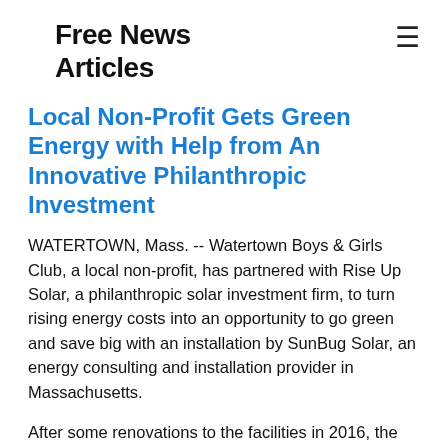Free News Articles
Local Non-Profit Gets Green Energy with Help from An Innovative Philanthropic Investment
WATERTOWN, Mass. -- Watertown Boys & Girls Club, a local non-profit, has partnered with Rise Up Solar, a philanthropic solar investment firm, to turn rising energy costs into an opportunity to go green and save big with an installation by SunBug Solar, an energy consulting and installation provider in Massachusetts.
After some renovations to the facilities in 2016, the Watertown Boys & Girls Club utility bills had started...